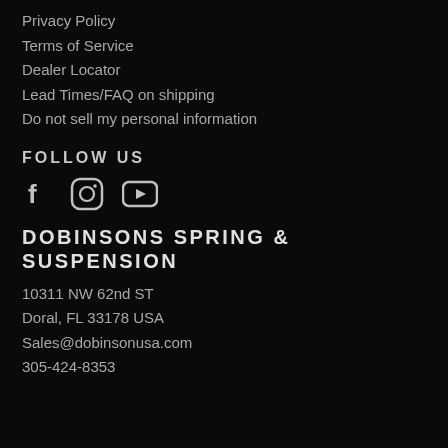Privacy Policy
Terms of Service
Dealer Locator
Lead Times/FAQ on shipping
Do not sell my personal information
FOLLOW US
[Figure (illustration): Social media icons: Facebook (f), Instagram (circle with camera), YouTube (play button triangle in rounded rectangle)]
DOBINSONS SPRING & SUSPENSION
10311 NW 62nd ST
Doral, FL 33178 USA
Sales@dobinsonusa.com
305-424-8353